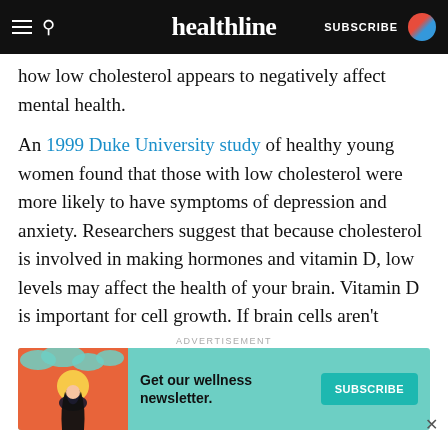healthline — SUBSCRIBE
how low cholesterol appears to negatively affect mental health.
An 1999 Duke University study of healthy young women found that those with low cholesterol were more likely to have symptoms of depression and anxiety. Researchers suggest that because cholesterol is involved in making hormones and vitamin D, low levels may affect the health of your brain. Vitamin D is important for cell growth. If brain cells aren't healthy, you may experience anxiety or depression. The connection between low cholesterol and mental health still isn't completely understood and is being
[Figure (infographic): Advertisement banner: Get our wellness newsletter. SUBSCRIBE button on teal background with illustrated woman graphic.]